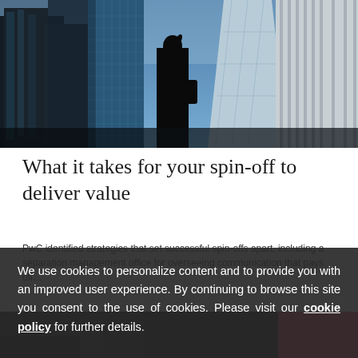[Figure (photo): Upward-looking view of modern glass skyscrapers with a silhouetted woman in the center foreground, city financial district]
What it takes for your spin-off to deliver value
PwC identified strategies that set successful spin-offs apart, including a separation management office for overseeing communication that pays off…
We use cookies to personalize content and to provide you with an improved user experience. By continuing to browse this site you consent to the use of cookies. Please visit our cookie policy for further details.
[Figure (photo): Dark interior/street scene, partially obscured by cookie consent overlay, with a pink/red button in bottom right corner]